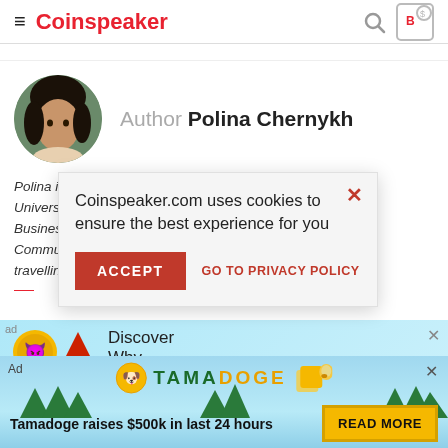≡ Coinspeaker
[Figure (photo): Circular profile photo of Polina Chernykh, a woman with dark hair]
Author Polina Chernykh
Polina is an undergra... University (BSEU) wh... Business Communica... Communication. In h... travelling.
Coinspeaker.com uses cookies to ensure the best experience for you
[Figure (infographic): Ad banner with coin illustration and Tamadoge logo with dog character. Text: Tamadoge raises $500k in last 24 hours. READ MORE button.]